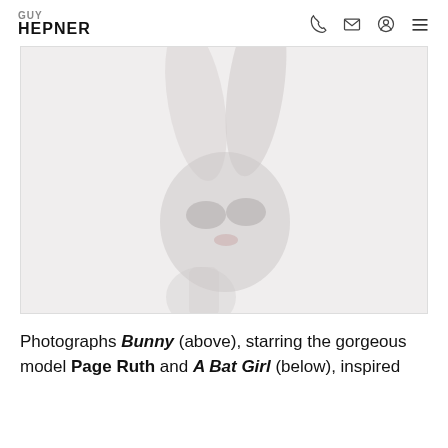GUY HEPNER
[Figure (photo): A figure wearing a dark bunny mask with tall ears against a light background, artistic fashion photography]
Photographs Bunny (above), starring the gorgeous model Page Ruth and A Bat Girl (below), inspired